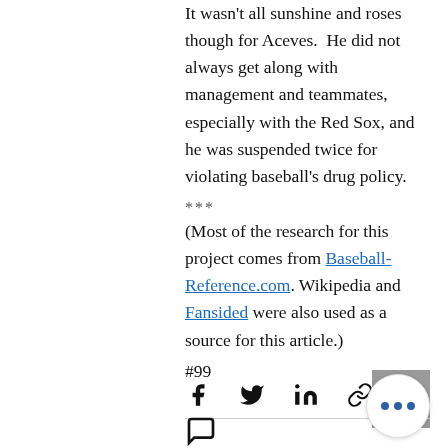It wasn't all sunshine and roses though for Aceves.  He did not always get along with management and teammates, especially with the Red Sox, and he was suspended twice for violating baseball's drug policy.
***
(Most of the research for this project comes from Baseball-Reference.com. Wikipedia and Fansided were also used as a source for this article.)
#99